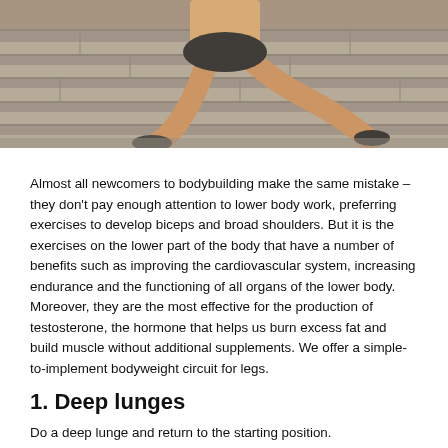[Figure (photo): A person in athletic gear performing a deep lunge exercise outdoors on steps or a platform, wearing dark shorts and athletic shoes. View is from the waist down.]
Almost all newcomers to bodybuilding make the same mistake – they don't pay enough attention to lower body work, preferring exercises to develop biceps and broad shoulders. But it is the exercises on the lower part of the body that have a number of benefits such as improving the cardiovascular system, increasing endurance and the functioning of all organs of the lower body. Moreover, they are the most effective for the production of testosterone, the hormone that helps us burn excess fat and build muscle without additional supplements. We offer a simple-to-implement bodyweight circuit for legs.
1. Deep lunges
Do a deep lunge and return to the starting position.